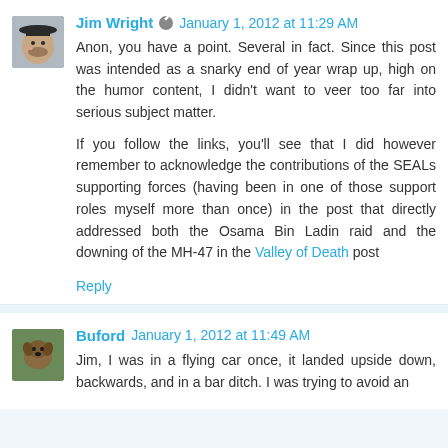Jim Wright  January 1, 2012 at 11:29 AM
Anon, you have a point. Several in fact. Since this post was intended as a snarky end of year wrap up, high on the humor content, I didn't want to veer too far into serious subject matter.

If you follow the links, you'll see that I did however remember to acknowledge the contributions of the SEALs supporting forces (having been in one of those support roles myself more than once) in the post that directly addressed both the Osama Bin Ladin raid and the downing of the MH-47 in the Valley of Death post
Reply
Buford  January 1, 2012 at 11:49 AM
Jim, I was in a flying car once, it landed upside down, backwards, and in a bar ditch. I was trying to avoid an